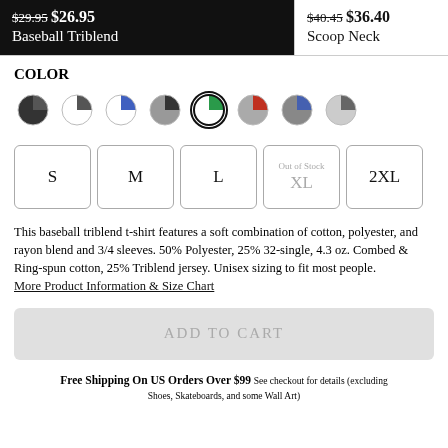$29.95 $26.95 Baseball Triblend
$40.45 $36.40 Scoop Neck
COLOR
[Figure (other): Eight circular color swatches: black/dark grey split, white/dark split, blue/white split, grey/dark split, white/green split (selected with border), red/grey split, blue/grey split, grey/light grey split]
S  M  L  Out of Stock XL  2XL
This baseball triblend t-shirt features a soft combination of cotton, polyester, and rayon blend and 3/4 sleeves. 50% Polyester, 25% 32-single, 4.3 oz. Combed & Ring-spun cotton, 25% Triblend jersey. Unisex sizing to fit most people.
More Product Information & Size Chart
ADD TO CART
Free Shipping On US Orders Over $99 See checkout for details (excluding Shoes, Skateboards, and some Wall Art)